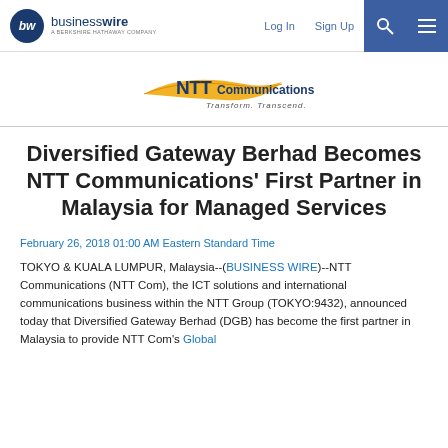businesswire — A Berkshire Hathaway Company | Log In | Sign Up
[Figure (logo): NTT Communications logo with tagline 'Transform. Transcend.']
Diversified Gateway Berhad Becomes NTT Communications' First Partner in Malaysia for Managed Services
February 26, 2018 01:00 AM Eastern Standard Time
TOKYO & KUALA LUMPUR, Malaysia--(BUSINESS WIRE)--NTT Communications (NTT Com), the ICT solutions and international communications business within the NTT Group (TOKYO:9432), announced today that Diversified Gateway Berhad (DGB) has become the first partner in Malaysia to provide NTT Com's Global